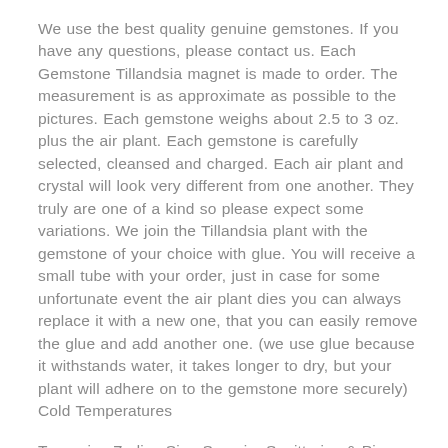We use the best quality genuine gemstones. If you have any questions, please contact us. Each Gemstone Tillandsia magnet is made to order. The measurement is as approximate as possible to the pictures. Each gemstone weighs about 2.5 to 3 oz. plus the air plant. Each gemstone is carefully selected, cleansed and charged. Each air plant and crystal will look very different from one another. They truly are one of a kind so please expect some variations. We join the Tillandsia plant with the gemstone of your choice with glue. You will receive a small tube with your order, just in case for some unfortunate event the air plant dies you can always replace it with a new one, that you can easily remove the glue and add another one. (we use glue because it withstands water, it takes longer to dry, but your plant will adhere on to the gemstone more securely) Cold Temperatures
Turquoise Zodiac Sign Scorpio, Sagittarius & Pisces